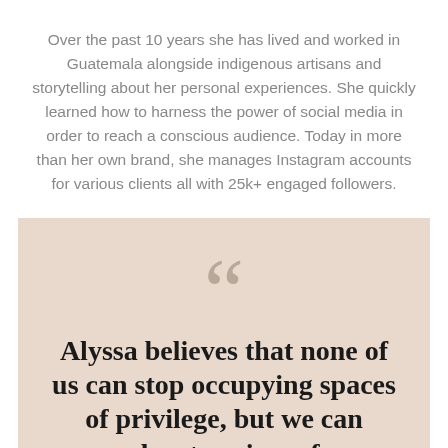Over the past 10 years she has lived and worked in Guatemala alongside indigenous artisans and storytelling about her personal experiences. She quickly learned how to harness the power of social media in order to reach a conscious audience. Today in more than her own brand, she manages Instagram accounts for various clients all with 25k+ engaged followers.
Alyssa believes that none of us can stop occupying spaces of privilege, but we can elevate voices of